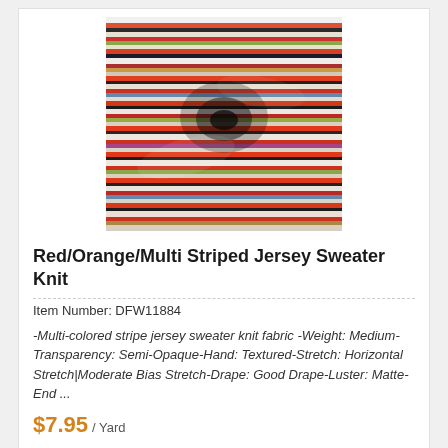[Figure (photo): Colorful multi-colored striped jersey sweater knit fabric, bunched and twisted to show texture, with orange, red, white, green, blue, and pink horizontal stripes.]
Red/Orange/Multi Striped Jersey Sweater Knit
Item Number: DFW11884
-Multi-colored stripe jersey sweater knit fabric -Weight: Medium-Transparency: Semi-Opaque-Hand: Textured-Stretch: Horizontal Stretch|Moderate Bias Stretch-Drape: Good Drape-Luster: Matte-End ...
$7.95 / Yard
[Figure (photo): Partial view of a floral fabric with colorful flowers on a light background — bottom card, partially visible.]